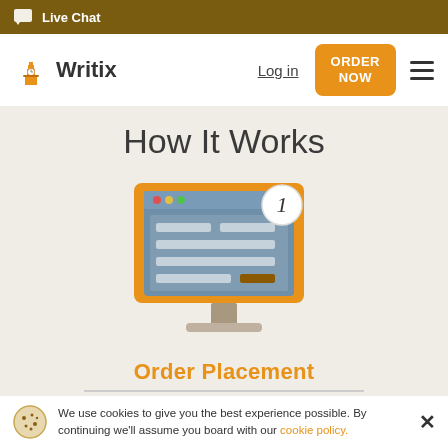Live Chat
[Figure (logo): Writix logo with Big Ben clock tower icon]
Log in
ORDER NOW
How It Works
[Figure (illustration): Computer monitor illustration showing a form/order interface with number 1 badge in top right corner]
Order Placement
Share your instructions with us
We use cookies to give you the best experience possible. By continuing we'll assume you board with our cookie policy.